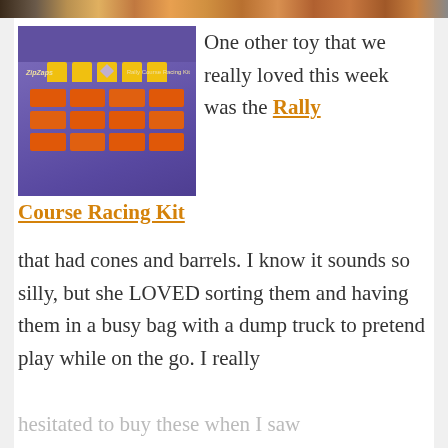[Figure (photo): Top banner strip showing a partial view of colorful toys/products]
[Figure (photo): Product photo of Rally Course Racing Kit in purple blister packaging showing yellow cones and orange barrels arranged in rows]
One other toy that we really loved this week was the Rally Course Racing Kit that had cones and barrels. I know it sounds so silly, but she LOVED sorting them and having them in a busy bag with a dump truck to pretend play while on the go. I really hesitated to buy these when I saw